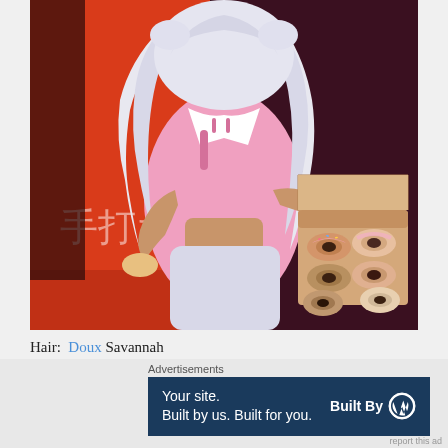[Figure (illustration): A 3D rendered anime-style figure with long silver/white wavy hair wearing a pink crop top and white collar, holding an open cardboard box containing six decorated donuts. Background shows a red/orange Japanese restaurant poster with kanji characters 手打ち visible on the left side.]
Hair: Doux Savannah
Mesh Head: LeLUTKA. EvoX Briannon 3.1
Skin: (Enfer Sombre*) LeLutka EvoX Skin – Mocha – Astrid (Anthem)
Advertisements
Your site. Built by us. Built for you. Built By WordPress